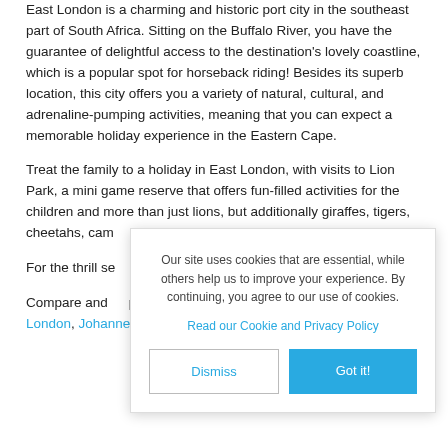East London is a charming and historic port city in the southeast part of South Africa. Sitting on the Buffalo River, you have the guarantee of delightful access to the destination's lovely coastline, which is a popular spot for horseback riding! Besides its superb location, this city offers you a variety of natural, cultural, and adrenaline-pumping activities, meaning that you can expect a memorable holiday experience in the Eastern Cape.
Treat the family to a holiday in East London, with visits to Lion Park, a mini game reserve that offers fun-filled activities for the children and more than just lions, but additionally giraffes, tigers, cheetahs, cam[obscured by modal] Meet all the fa[obscured] Aquarium, the[obscured]
For the thrill se[obscured] discover all the[obscured] endurance, an[obscured] Park.
Compare and [obscured] popular flight routes from Cape Town to East London, Johannesburg to East London and more.
Our site uses cookies that are essential, while others help us to improve your experience. By continuing, you agree to our use of cookies.
Read our Cookie and Privacy Policy
Dismiss | Got it!